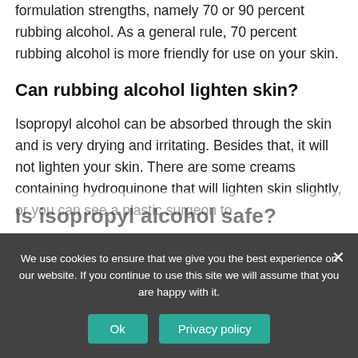formulation strengths, namely 70 or 90 percent rubbing alcohol. As a general rule, 70 percent rubbing alcohol is more friendly for use on your skin.
Can rubbing alcohol lighten skin?
Isopropyl alcohol can be absorbed through the skin and is very drying and irritating. Besides that, it will not lighten your skin. There are some creams containing hydroquinone that will lighten skin slightly, or you can see a plastic surgeon to
Is isopropyl alcohol safe?
We use cookies to ensure that we give you the best experience on our website. If you continue to use this site we will assume that you are happy with it.